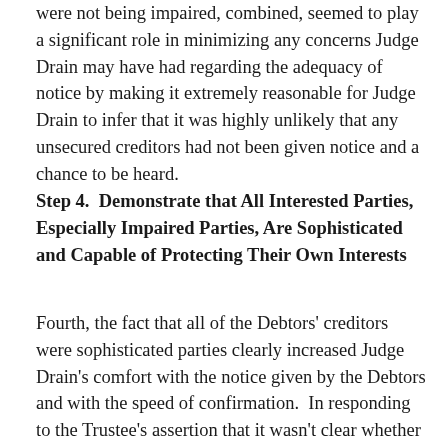were not being impaired, combined, seemed to play a significant role in minimizing any concerns Judge Drain may have had regarding the adequacy of notice by making it extremely reasonable for Judge Drain to infer that it was highly unlikely that any unsecured creditors had not been given notice and a chance to be heard.
Step 4.  Demonstrate that All Interested Parties, Especially Impaired Parties, Are Sophisticated and Capable of Protecting Their Own Interests
Fourth, the fact that all of the Debtors' creditors were sophisticated parties clearly increased Judge Drain's comfort with the notice given by the Debtors and with the speed of confirmation.  In responding to the Trustee's assertion that it wasn't clear whether the unsecured creditors were